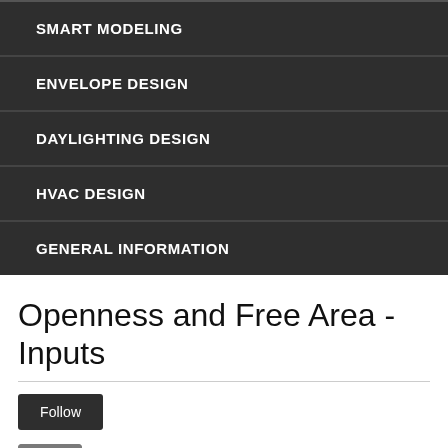SMART MODELING
ENVELOPE DESIGN
DAYLIGHTING DESIGN
HVAC DESIGN
GENERAL INFORMATION
Openness and Free Area - Inputs
Follow
[Figure (photo): Profile photo of Andrew Corney, a man with dark hair]
Andrew Corney
Updated : February 12, 2017 19:34 Created : November 08, 2016 15:50